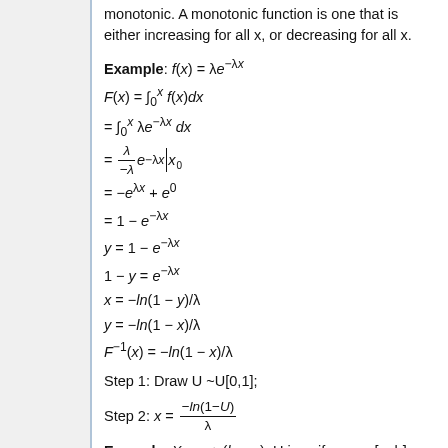monotonic. A monotonic function is one that is either increasing for all x, or decreasing for all x.
Step 1: Draw U ~U[0,1];
Example: X = a + (b – a), U is uniform on [a, b]